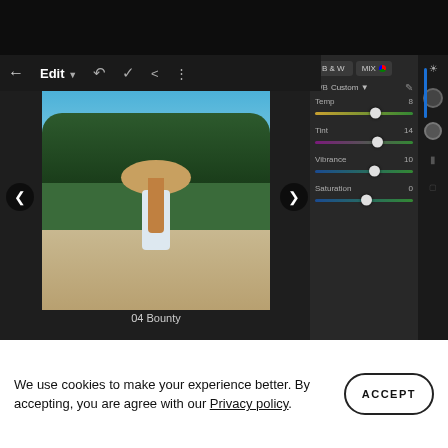[Figure (screenshot): Photo editing software UI showing a woman in a white dress and large straw hat sitting on sand. The editor shows toolbar with Edit label, undo, checkmark, share and menu buttons. Right panel shows B&W and MIX tabs, WB Custom dropdown, and sliders for Temp (8), Tint (14), Vibrance (10), and Saturation (0). Below the photo is the label '04 Bounty'.]
We use cookies to make your experience better. By accepting, you are agree with our Privacy policy.
ACCEPT